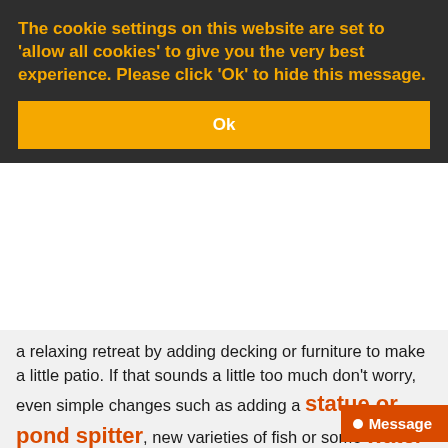The cookie settings on this website are set to 'allow all cookies' to give you the very best experience. Please click 'Ok' to hide this message.
Ok
a relaxing retreat by adding decking or furniture to make a little patio. If that sounds a little too much don't worry, even simple changes such as adding a statue or pond spitter, new varieties of fish or some water lilies can make a world of difference. Change things up and transform your pond – you'll be glad you did.
5. Make some time and enjoy your pond –
There's no point putting in all that effort if you never get to enjoy the benefits. So our